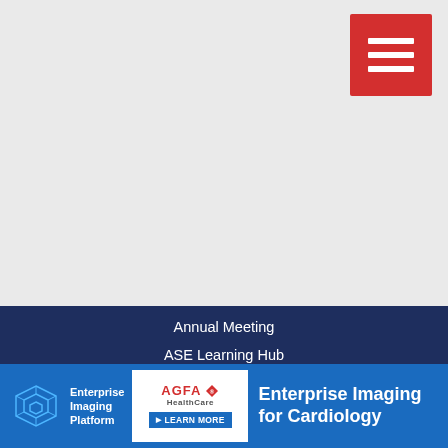[Figure (screenshot): Grey empty area representing a webpage top section with a red hamburger menu button in the top-right corner]
Annual Meeting
ASE Learning Hub
ASE Learning Hub for Nonmembers
ASE MarketPlace
Contrast
[Figure (infographic): AGFA HealthCare advertisement banner: Enterprise Imaging Platform with cube icon on left, AGFA HealthCare logo with LEARN MORE button in center, and Enterprise Imaging for Cardiology text on right]